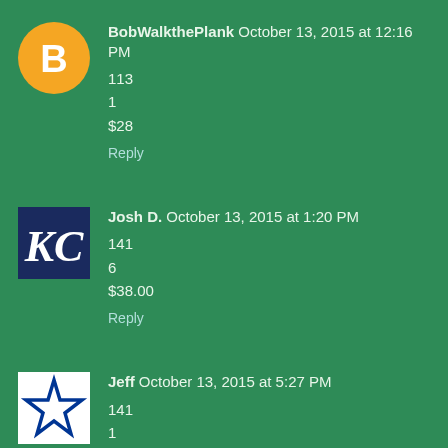BobWalkthePlank October 13, 2015 at 12:16 PM
113
1
$28
Reply
[Figure (logo): Orange circle with white blogger 'B' icon]
Josh D. October 13, 2015 at 1:20 PM
141
6
$38.00
Reply
[Figure (logo): Kansas City Royals KC logo on dark navy background]
Jeff October 13, 2015 at 5:27 PM
141
1
$100
Reply
[Figure (logo): Dallas Cowboys star logo on white background]